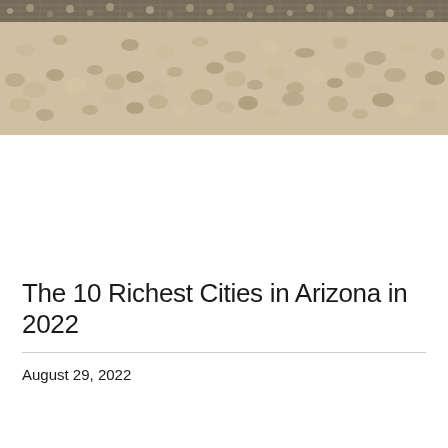[Figure (photo): Close-up photo of gravel or crushed rock/aggregate material, with a wire mesh or gabion visible at the top edge. Sandy, tan-colored stones fill the frame.]
The 10 Richest Cities in Arizona in 2022
August 29, 2022